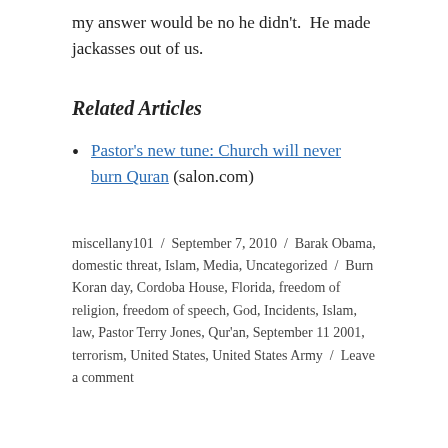my answer would be no he didn't.  He made jackasses out of us.
Related Articles
Pastor's new tune: Church will never burn Quran (salon.com)
miscellany101  /  September 7, 2010  /  Barak Obama, domestic threat, Islam, Media, Uncategorized  /  Burn Koran day, Cordoba House, Florida, freedom of religion, freedom of speech, God, Incidents, Islam, law, Pastor Terry Jones, Qur'an, September 11 2001, terrorism, United States, United States Army  /  Leave a comment